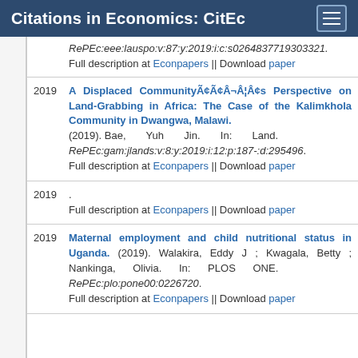Citations in Economics: CitEc
RePEc:eee:lauspo:v:87:y:2019:i:c:s0264837719303321.
Full description at Econpapers || Download paper
2019 A Displaced Communityâs Perspective on Land-Grabbing in Africa: The Case of the Kalimkhola Community in Dwangwa, Malawi. (2019). Bae, Yuh Jin. In: Land. RePEc:gam:jlands:v:8:y:2019:i:12:p:187-:d:295496. Full description at Econpapers || Download paper
2019 . Full description at Econpapers || Download paper
2019 Maternal employment and child nutritional status in Uganda. (2019). Walakira, Eddy J ; Kwagala, Betty ; Nankinga, Olivia. In: PLOS ONE. RePEc:plo:pone00:0226720. Full description at Econpapers || Download paper